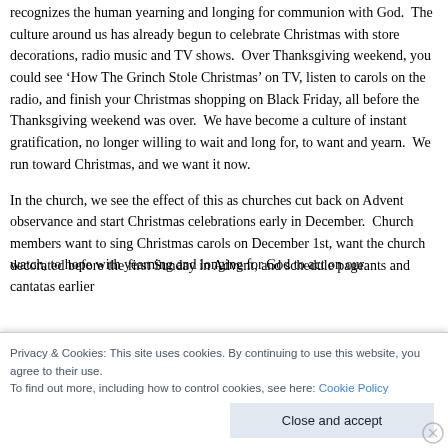recognizes the human yearning and longing for communion with God.  The culture around us has already begun to celebrate Christmas with store decorations, radio music and TV shows.  Over Thanksgiving weekend, you could see 'How The Grinch Stole Christmas' on TV, listen to carols on the radio, and finish your Christmas shopping on Black Friday, all before the Thanksgiving weekend was over.  We have become a culture of instant gratification, no longer willing to wait and long for, to want and yearn.  We run toward Christmas, and we want it now.
In the church, we see the effect of this as churches cut back on Advent observance and start Christmas celebrations early in December.  Church members want to sing Christmas carols on December 1st, want the church decorated before the first Sunday in Advent, and schedule pageants and cantatas earlier
watch, to hope with yearning and longing for God to act on our
Privacy & Cookies: This site uses cookies. By continuing to use this website, you agree to their use.
To find out more, including how to control cookies, see here: Cookie Policy
Close and accept